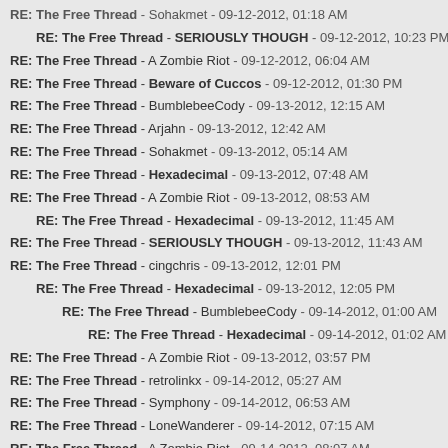RE: The Free Thread - Sohakmet - 09-12-2012, 01:18 AM
RE: The Free Thread - SERIOUSLY THOUGH - 09-12-2012, 10:23 PM
RE: The Free Thread - A Zombie Riot - 09-12-2012, 06:04 AM
RE: The Free Thread - Beware of Cuccos - 09-12-2012, 01:30 PM
RE: The Free Thread - BumblebeeCody - 09-13-2012, 12:15 AM
RE: The Free Thread - Arjahn - 09-13-2012, 12:42 AM
RE: The Free Thread - Sohakmet - 09-13-2012, 05:14 AM
RE: The Free Thread - Hexadecimal - 09-13-2012, 07:48 AM
RE: The Free Thread - A Zombie Riot - 09-13-2012, 08:53 AM
RE: The Free Thread - Hexadecimal - 09-13-2012, 11:45 AM
RE: The Free Thread - SERIOUSLY THOUGH - 09-13-2012, 11:43 AM
RE: The Free Thread - cingchris - 09-13-2012, 12:01 PM
RE: The Free Thread - Hexadecimal - 09-13-2012, 12:05 PM
RE: The Free Thread - BumblebeeCody - 09-14-2012, 01:00 AM
RE: The Free Thread - Hexadecimal - 09-14-2012, 01:02 AM
RE: The Free Thread - A Zombie Riot - 09-13-2012, 03:57 PM
RE: The Free Thread - retrolinkx - 09-14-2012, 05:27 AM
RE: The Free Thread - Symphony - 09-14-2012, 06:53 AM
RE: The Free Thread - LoneWanderer - 09-14-2012, 07:15 AM
RE: The Free Thread - A Zombie Riot - 09-14-2012, 08:07 AM
RE: The Free Thread - SERIOUSLY THOUGH - 09-14-2012, 08:33 AM
RE: The Free Thread - zinja - 09-14-2012, 09:54 AM
RE: The Free Thread - A Zombie Riot - 09-14-2012, 10:15 AM
RE: The Free Thread - zinja - 09-14-2012, 10:30 AM
RE: The Free Thread - A Zombie Riot - 09-14-2012, 11:33 AM